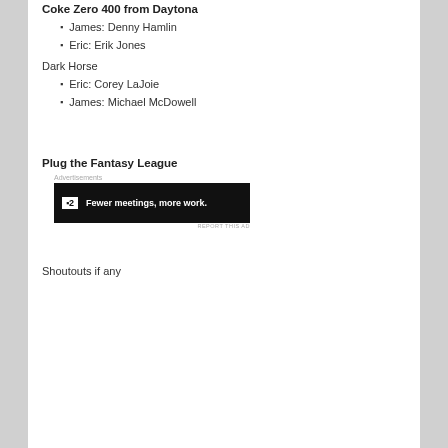Coke Zero 400 from Daytona
James: Denny Hamlin
Eric: Erik Jones
Dark Horse
Eric: Corey LaJoie
James: Michael McDowell
Plug the Fantasy League
[Figure (other): Advertisement banner: P2 logo with text 'Fewer meetings, more work.' on dark background]
Shoutouts if any